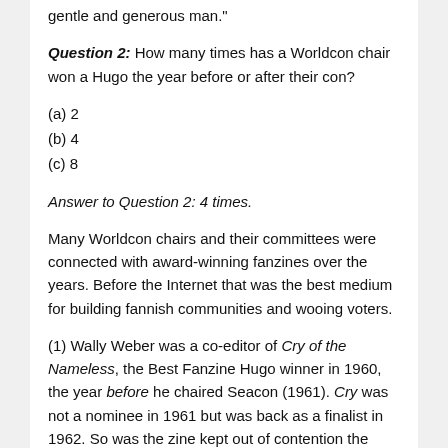gentle and generous man."
Question 2: How many times has a Worldcon chair won a Hugo the year before or after their con?
(a) 2
(b) 4
(c) 8
Answer to Question 2: 4 times.
Many Worldcon chairs and their committees were connected with award-winning fanzines over the years. Before the Internet that was the best medium for building fannish communities and wooing voters.
(1) Wally Weber was a co-editor of Cry of the Nameless, the Best Fanzine Hugo winner in 1960, the year before he chaired Seacon (1961). Cry was not a nominee in 1961 but was back as a finalist in 1962. So was the zine kept out of contention the year they hosted the Worldcon? Wally Weber is cited as thinking the weight he...